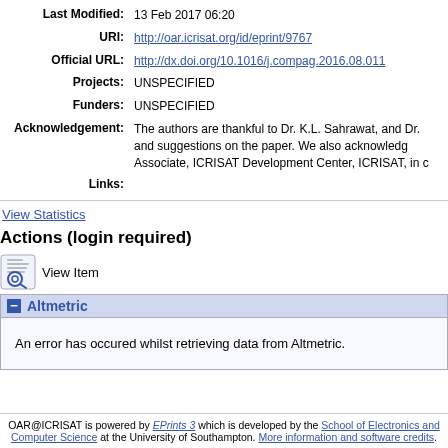| Field | Value |
| --- | --- |
| Last Modified: | 13 Feb 2017 06:20 |
| URI: | http://oar.icrisat.org/id/eprint/9767 |
| Official URL: | http://dx.doi.org/10.1016/j.compag.2016.08.011 |
| Projects: | UNSPECIFIED |
| Funders: | UNSPECIFIED |
| Acknowledgement: | The authors are thankful to Dr. K.L. Sahrawat, and Dr. and suggestions on the paper. We also acknowledg Associate, ICRISAT Development Center, ICRISAT, in |
| Links: |  |
View Statistics
Actions (login required)
View Item
Altmetric
An error has occured whilst retrieving data from Altmetric.
OAR@ICRISAT is powered by EPrints 3 which is developed by the School of Electronics and Computer Science at the University of Southampton. More information and software credits.